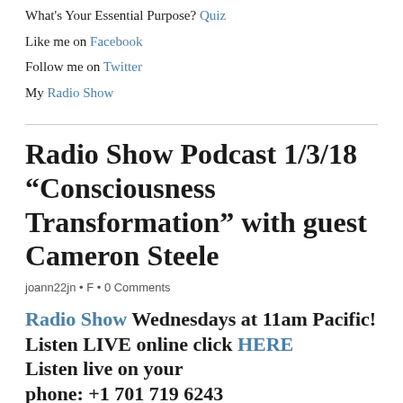What's Your Essential Purpose? Quiz
Like me on Facebook
Follow me on Twitter
My Radio Show
Radio Show Podcast 1/3/18 “Consciousness Transformation” with guest Cameron Steele
joann22jn • F • 0 Comments
Radio Show Wednesdays at 11am Pacific!
Listen LIVE online click HERE
Listen live on your phone: +1 701 719 6243